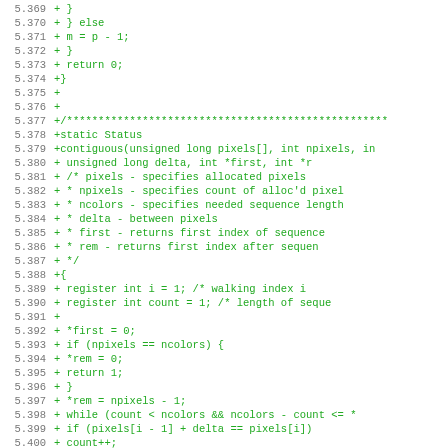[Figure (screenshot): Source code diff showing lines 5.369 to 5.401 of a C source file. Green text on white background in monospace font. Lines show a function closing brace, else block, return statement, and the beginning of a 'contiguous' function with pixel and color parameters.]